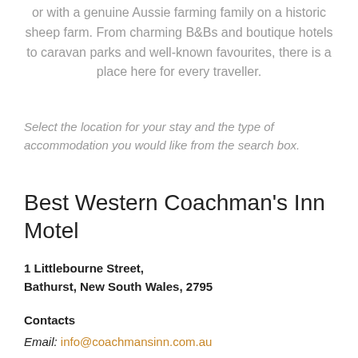or with a genuine Aussie farming family on a historic sheep farm. From charming B&Bs and boutique hotels to caravan parks and well-known favourites, there is a place here for every traveller.
Select the location for your stay and the type of accommodation you would like from the search box.
Best Western Coachman's Inn Motel
1 Littlebourne Street,
Bathurst, New South Wales, 2795
Contacts
Email: info@coachmansinn.com.au
Phone: 02 6331 4855